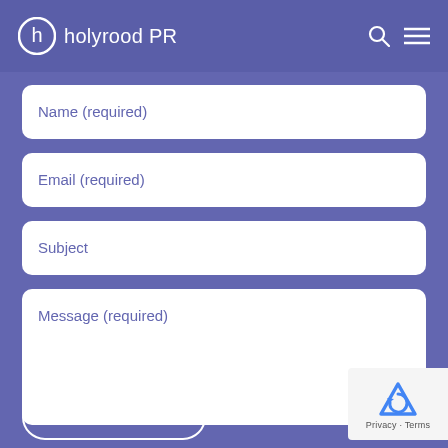holyrood PR
Name (required)
Email (required)
Subject
Message (required)
Send message